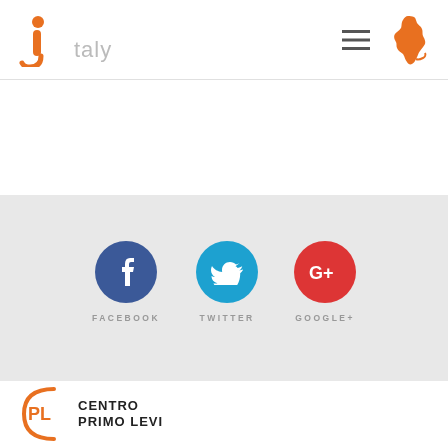[Figure (logo): iItaly website logo — orange stylized 'i' with 'taly' in gray, followed by hamburger menu icon and orange Italy map silhouette]
[Figure (infographic): Social media sharing buttons — Facebook (dark blue circle with 'f'), Twitter (light blue circle with bird), Google+ (red circle with 'G+'), each labeled below in gray uppercase letters: FACEBOOK, TWITTER, GOOGLE+]
[Figure (logo): Centro Primo Levi logo — PL in orange arc bracket on left, CENTRO PRIMO LEVI bold text on right]